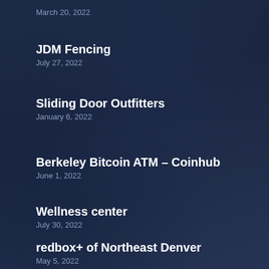March 20, 2022
JDM Fencing
July 27, 2022
Sliding Door Outfitters
January 6, 2022
Berkeley Bitcoin ATM – Coinhub
June 1, 2022
Wellness center
July 30, 2022
redbox+ of Northeast Denver
May 5, 2022